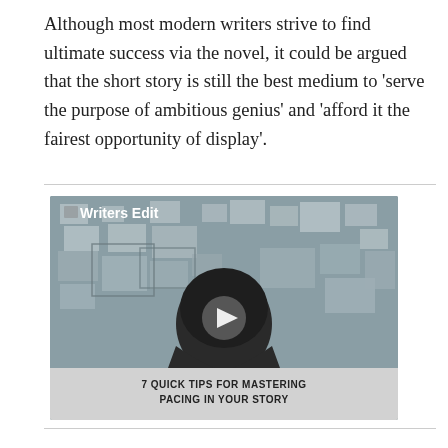Although most modern writers strive to find ultimate success via the novel, it could be argued that the short story is still the best medium to 'serve the purpose of ambitious genius' and 'afford it the fairest opportunity of display'.
[Figure (screenshot): Video thumbnail showing a person from behind looking at a wall covered in papers and sticky notes. The video is labeled 'Writers Edit' in the top left and shows a play button in the center. The caption bar at the bottom reads '7 QUICK TIPS FOR MASTERING PACING IN YOUR STORY'.]
7 QUICK TIPS FOR MASTERING PACING IN YOUR STORY